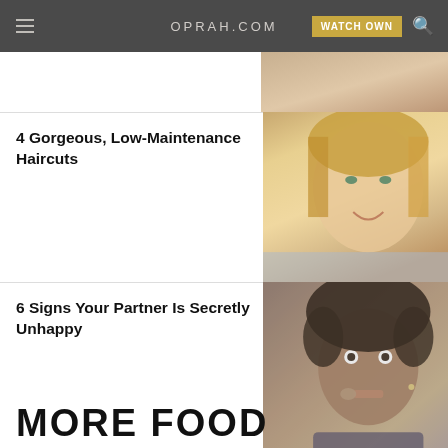OPRAH.COM | WATCH OWN
[Figure (photo): Partial view of a person's torso in a white top, cropped at top of page]
4 Gorgeous, Low-Maintenance Haircuts
[Figure (photo): Close-up of a smiling blonde woman with long straight hair]
6 Signs Your Partner Is Secretly Unhappy
[Figure (photo): Close-up of a young Black man with finger to his lips in a shushing gesture]
MORE FOOD